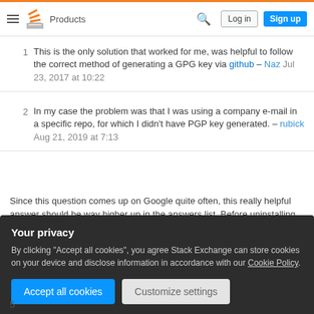≡ [Stack Overflow logo] Products 🔍 Log in Sign up
1 This is the only solution that worked for me, was helpful to follow the correct method of generating a GPG key via github – Naz Jul 23, 2017 at 10:22
2 In my case the problem was that I was using a company e-mail in a specific repo, for which I didn't have PGP key generated. – rubick Aug 21, 2019 at 7:13
Since this question comes up on Google quite often, this really helpful answer should be way higher up in the answers list. Before uninstalling and installing a ton of software trying to fix something that's not broken, just check that you've specified the right e-mail
Your privacy
By clicking "Accept all cookies", you agree Stack Exchange can store cookies on your device and disclose information in accordance with our Cookie Policy.
[Accept all cookies] [Customize settings]
5